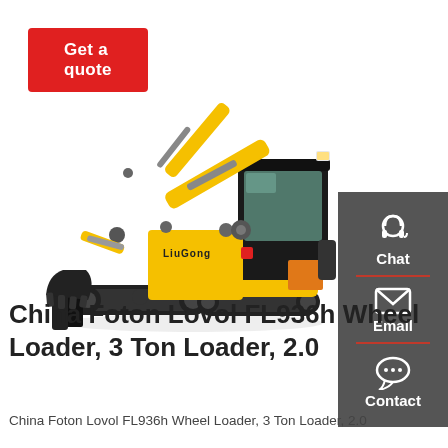Get a quote
[Figure (photo): LiuGong mini excavator, yellow and black, with bucket attachment and blade, on white background]
[Figure (infographic): Side panel with dark grey background showing Chat (headset icon), Email (envelope icon), and Contact (speech bubble icon) options, separated by red dividers]
China Foton Lovol FL936h Wheel Loader, 3 Ton Loader, 2.0
China Foton Lovol FL936h Wheel Loader, 3 Ton Loader, 2.0